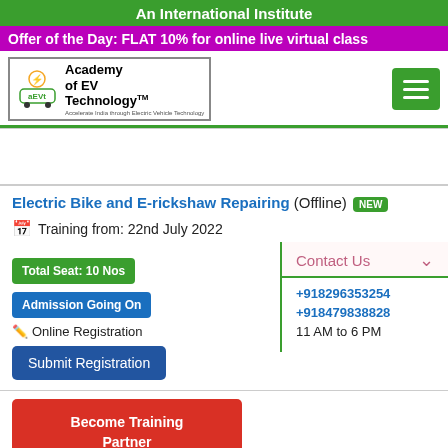An International Institute
Offer of the Day: FLAT 10% for online live virtual class
[Figure (logo): Academy of EV Technology logo with TM mark, EV car icon]
Electric Bike and E-rickshaw Repairing (Offline) NEW
Training from: 22nd July 2022
Total Seat: 10 Nos
Admission Going On
Online Registration
Submit Registration
Contact Us
+918296353254
+918479838828
11 AM to 6 PM
Become Training Partner